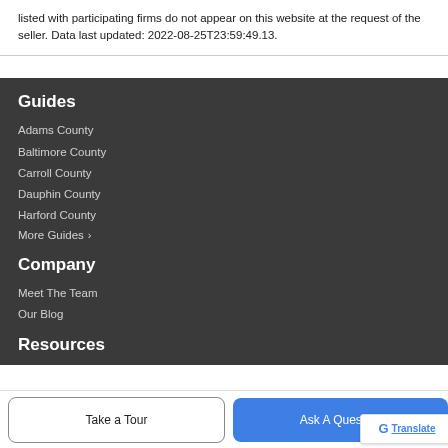listed with participating firms do not appear on this website at the request of the seller. Data last updated: 2022-08-25T23:59:49.13.
Guides
Adams County
Baltimore County
Carroll County
Dauphin County
Harford County
More Guides >
Company
Meet The Team
Our Blog
Resources